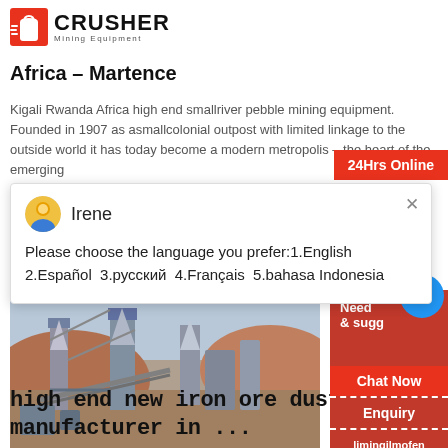[Figure (logo): Crusher Mining Equipment logo with red shopping bag icon and bold CRUSHER text]
Africa - Martence
Kigali Rwanda Africa high end smallriver pebble mining equipment. Founded in 1907 as asmallcolonial outpost with limited linkage to the outside world it has today become a modern metropolis – the heart of the emerging
24Hrs Online
Irene
Please choose the language you prefer:1.English 2.Español 3.русский 4.Français 5.bahasa Indonesia
[Figure (photo): Industrial mining equipment facility with crushers and conveyors in a desert landscape]
high end new iron ore dust catcher manufacturer in ...
Need
& sugg
1
Chat Now
Enquiry
limingjlmofen@sina.com